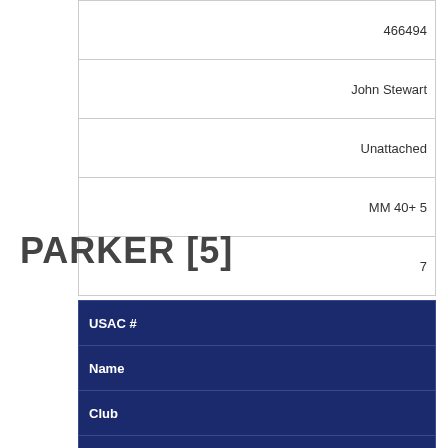| 466494 |
| John Stewart |
| Unattached |
| MM 40+ 5 |
| 7 |
PARKER [5]
| USAC # |
| --- |
| Name |
| Club |
| Race Group |
| Place |